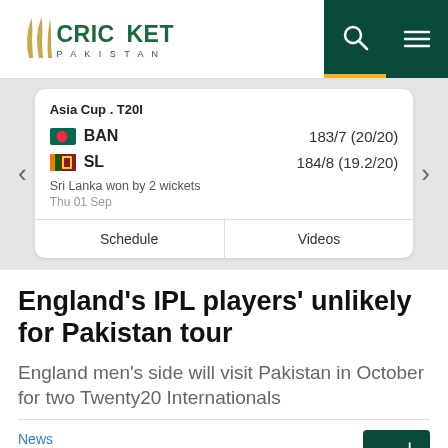[Figure (logo): Cricket Pakistan logo with stylized cricket stumps and 'CRICKET PAKISTAN' text in green]
[Figure (screenshot): Match scorecard widget: Asia Cup . T20I, BAN 183/7 (20/20), SL 184/8 (19.2/20), Sri Lanka won by 2 wickets, Thu 01 Sep, with Schedule and Videos buttons]
England's IPL players' unlikely for Pakistan tour
England men's side will visit Pakistan in October for two Twenty20 Internationals
News Desk in 194
[Figure (other): Urdu button (اردو) in dark green]